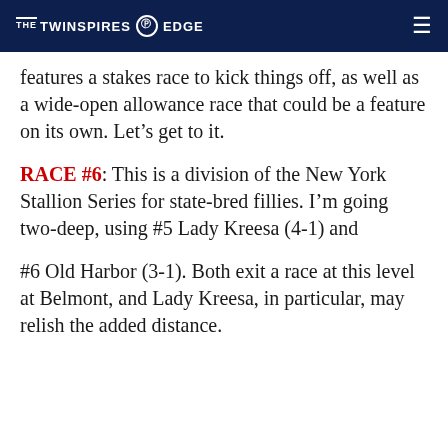THE TWINSPIRES EDGE
features a stakes race to kick things off, as well as a wide-open allowance race that could be a feature on its own. Let’s get to it.
RACE #6: This is a division of the New York Stallion Series for state-bred fillies. I’m going two-deep, using #5 Lady Kreesa (4-1) and
#6 Old Harbor (3-1). Both exit a race at this level at Belmont, and Lady Kreesa, in particular, may relish the added distance.